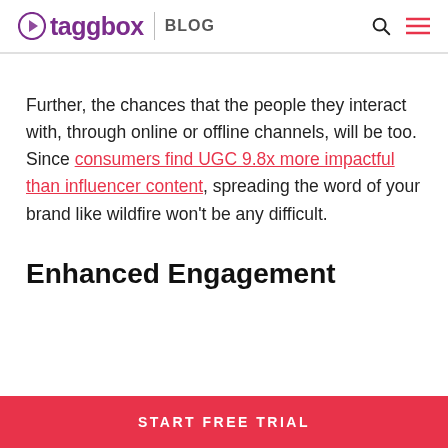taggbox BLOG
Further, the chances that the people they interact with, through online or offline channels, will be too. Since consumers find UGC 9.8x more impactful than influencer content, spreading the word of your brand like wildfire won't be any difficult.
Enhanced Engagement
START FREE TRIAL